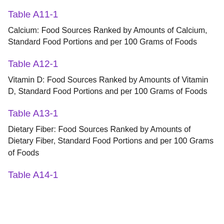Table A11-1
Calcium: Food Sources Ranked by Amounts of Calcium, Standard Food Portions and per 100 Grams of Foods
Table A12-1
Vitamin D: Food Sources Ranked by Amounts of Vitamin D, Standard Food Portions and per 100 Grams of Foods
Table A13-1
Dietary Fiber: Food Sources Ranked by Amounts of Dietary Fiber, Standard Food Portions and per 100 Grams of Foods
Table A14-1